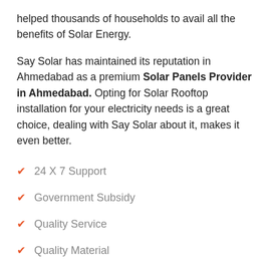helped thousands of households to avail all the benefits of Solar Energy.
Say Solar has maintained its reputation in Ahmedabad as a premium Solar Panels Provider in Ahmedabad. Opting for Solar Rooftop installation for your electricity needs is a great choice, dealing with Say Solar about it, makes it even better.
24 X 7 Support
Government Subsidy
Quality Service
Quality Material